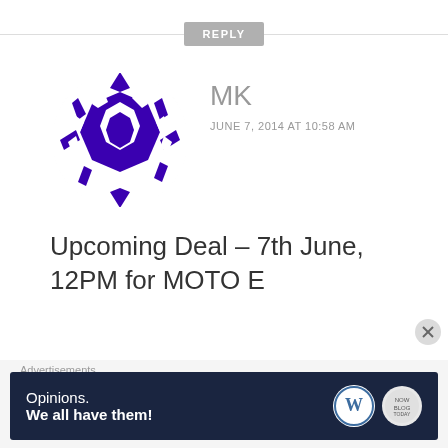[Figure (other): Reply button with horizontal divider lines at top]
[Figure (illustration): Avatar: purple/blue geometric mosaic circle pattern]
MK
JUNE 7, 2014 AT 10:58 AM
Upcoming Deal – 7th June, 12PM for MOTO E
[Figure (other): Star icon for Like button]
Like
[Figure (other): Reply button with horizontal divider lines at bottom]
[Figure (illustration): Partial avatar: light blue geometric triangle pattern for next commenter 'ni']
ni
Advertisements
[Figure (other): Advertisement banner: dark navy background, text 'Opinions. We all have them!' with WordPress logo and circle logo]